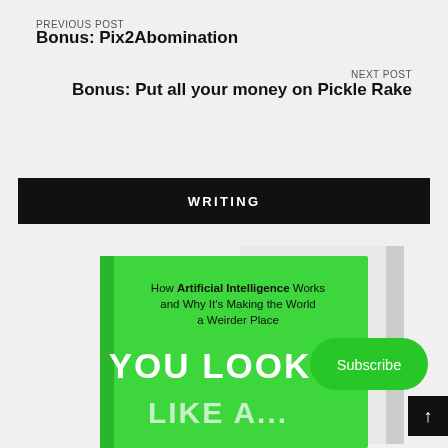PREVIOUS POST
Bonus: Pix2Abomination
NEXT POST
Bonus: Put all your money on Pickle Rake
WRITING
[Figure (photo): Green book cover showing 'How Artificial Intelligence Works and Why It's Making the World a Weirder Place — YOU LOOK' with a Subscribe button overlay]